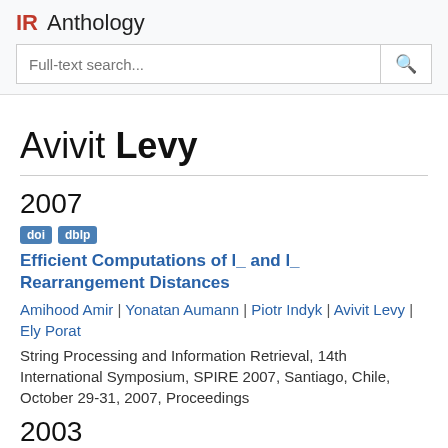IR Anthology
Avivit Levy
2007
doi dblp
Efficient Computations of l_ and l_ Rearrangement Distances
Amihood Amir | Yonatan Aumann | Piotr Indyk | Avivit Levy | Ely Porat
String Processing and Information Retrieval, 14th International Symposium, SPIRE 2007, Santiago, Chile, October 29-31, 2007, Proceedings
2003